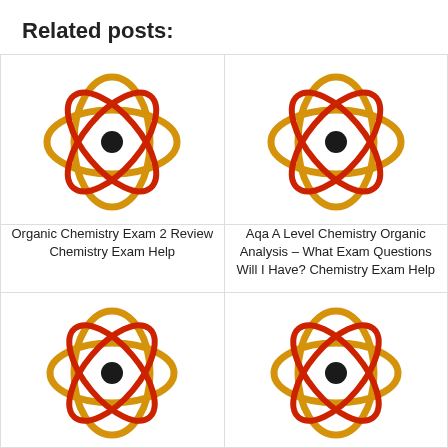Related posts:
[Figure (illustration): Atom icon with golden elliptical orbits and red crossed ellipses, black nucleus center]
Organic Chemistry Exam 2 Review Chemistry Exam Help
[Figure (illustration): Atom icon with golden elliptical orbits and red crossed ellipses, black nucleus center]
Aqa A Level Chemistry Organic Analysis – What Exam Questions Will I Have? Chemistry Exam Help
[Figure (illustration): Atom icon with golden elliptical orbits and red crossed ellipses, black nucleus center]
[Figure (illustration): Atom icon with golden elliptical orbits and red crossed ellipses, black nucleus center]